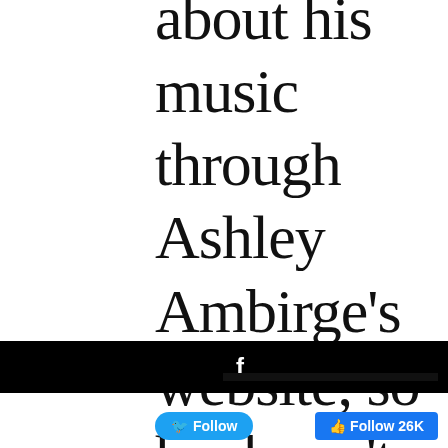about his music through Ashley Ambirge's website, so he doesn't think you're a
[Figure (screenshot): Facebook share bar (black background with white Facebook 'f' icon)]
[Figure (screenshot): Twitter Follow button (blue rounded button with bird icon and 'Follow' text)]
[Figure (screenshot): Facebook Follow 26K button (blue with thumbs up icon)]